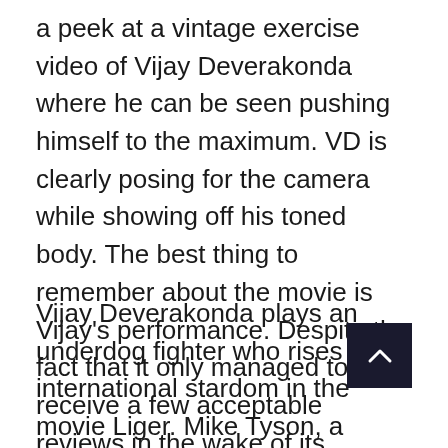a peek at a vintage exercise video of Vijay Deverakonda where he can be seen pushing himself to the maximum. VD is clearly posing for the camera while showing off his toned body. The best thing to remember about the movie is Vijay's performance. Despite the fact that it only managed to receive a few acceptable reviews in the wake of its release.
Vijay Deverakonda plays an underdog fighter who rises to international stardom in the movie Liger. Mike Tyson, a former American pro boxer, also makes a cameo appearance in the film. The film, which was created in Hindi, Telugu, Tamil, Kannada, and Malayalam,